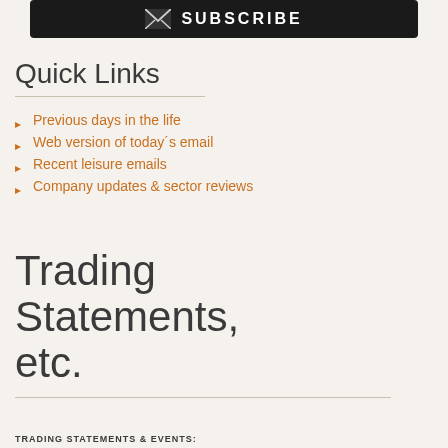[Figure (other): Subscribe button with envelope icon and bold text SUBSCRIBE on dark background]
Quick Links
Previous days in the life
Web version of today´s email
Recent leisure emails
Company updates & sector reviews
Trading Statements, etc.
TRADING STATEMENTS & EVENTS: